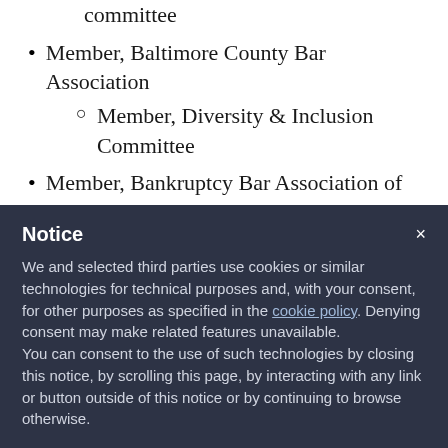committee
Member, Baltimore County Bar Association
Member, Diversity & Inclusion Committee
Member, Bankruptcy Bar Association of Maryland
Notice
We and selected third parties use cookies or similar technologies for technical purposes and, with your consent, for other purposes as specified in the cookie policy. Denying consent may make related features unavailable.
You can consent to the use of such technologies by closing this notice, by scrolling this page, by interacting with any link or button outside of this notice or by continuing to browse otherwise.